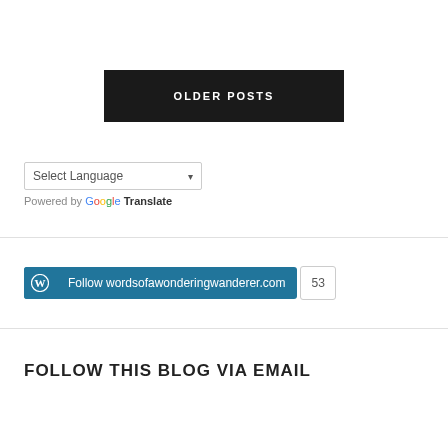[Figure (screenshot): Black button with white uppercase text 'OLDER POSTS']
[Figure (screenshot): Google Translate language selector widget with 'Select Language' dropdown and 'Powered by Google Translate' text]
[Figure (screenshot): WordPress follow button for wordsofawonderingwanderer.com with follower count of 53]
FOLLOW THIS BLOG VIA EMAIL